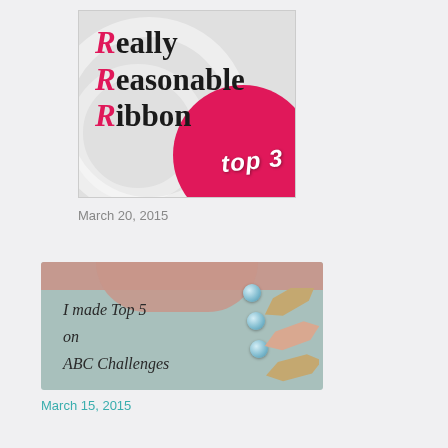[Figure (logo): Really Reasonable Ribbon Top 3 badge - grey background with pink decorative circle and 'top 3' text in white italic]
March 20, 2015
[Figure (illustration): I made Top 5 on ABC Challenges badge - teal/blue fabric background with pink floral top band, handwritten-style text, and decorative gem buttons with arrow embellishments]
March 15, 2015